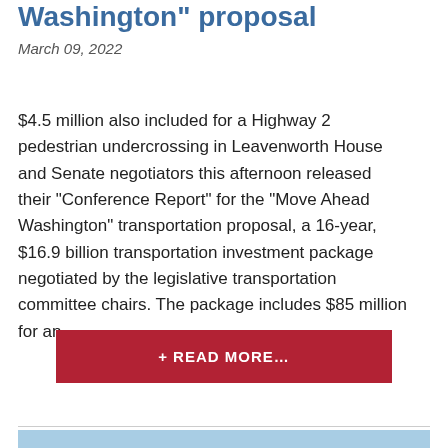Washington” proposal
March 09, 2022
$4.5 million also included for a Highway 2 pedestrian undercrossing in Leavenworth House and Senate negotiators this afternoon released their “Conference Report” for the “Move Ahead Washington” transportation proposal, a 16-year, $16.9 billion transportation investment package negotiated by the legislative transportation committee chairs. The package includes $85 million for an…
+ READ MORE…